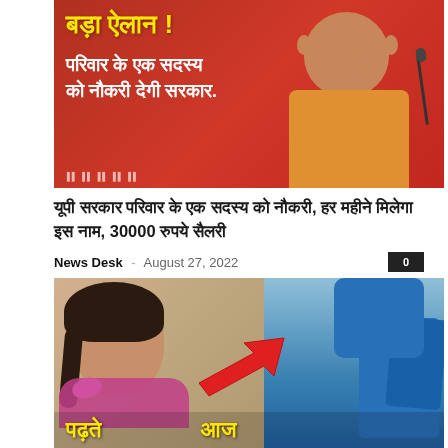[Figure (photo): News thumbnail image with red background showing Hindi text 'बड़ा ऐलान!' in yellow and 'परिवार के एक सदस्य को नौकरी देगी सरकार.' in white, with a photo of a person gesturing and a microphone on the right side]
यूपी सरकार परिवार के एक सदस्य को नौकरी, हर महीने मिलेगा इस नाम, 30000 रुपये सैलरी
News Desk – August 27, 2022
[Figure (photo): Composite image showing a young girl on the left side and a person in blue clothing on the right, with a red arrow pointing diagonally, and yellow Hindi text at the bottom reading 'पढ़ते' and 'आज']